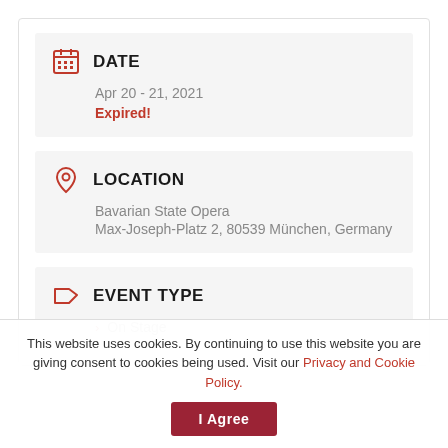DATE
Apr 20 - 21, 2021
Expired!
LOCATION
Bavarian State Opera
Max-Joseph-Platz 2, 80539 München, Germany
EVENT TYPE
On Stage
This website uses cookies. By continuing to use this website you are giving consent to cookies being used. Visit our Privacy and Cookie Policy.